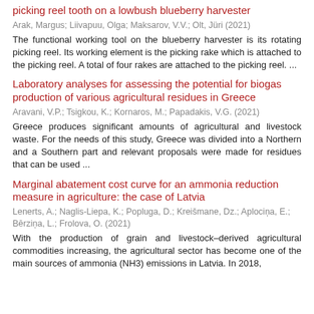picking reel tooth on a lowbush blueberry harvester
Arak, Margus; Liivapuu, Olga; Maksarov, V.V.; Olt, Jüri (2021)
The functional working tool on the blueberry harvester is its rotating picking reel. Its working element is the picking rake which is attached to the picking reel. A total of four rakes are attached to the picking reel. ...
Laboratory analyses for assessing the potential for biogas production of various agricultural residues in Greece
Aravani, V.P.; Tsigkou, K.; Kornaros, M.; Papadakis, V.G. (2021)
Greece produces significant amounts of agricultural and livestock waste. For the needs of this study, Greece was divided into a Northern and a Southern part and relevant proposals were made for residues that can be used ...
Marginal abatement cost curve for an ammonia reduction measure in agriculture: the case of Latvia
Lenerts, A.; Naglis-Liepa, K.; Popluga, D.; Kreišmane, Dz.; Aplociņa, E.; Bērziņa, L.; Frolova, O. (2021)
With the production of grain and livestock–derived agricultural commodities increasing, the agricultural sector has become one of the main sources of ammonia (NH3) emissions in Latvia. In 2018,